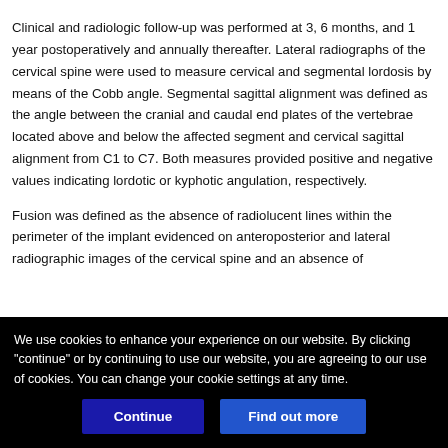Clinical and radiologic follow-up was performed at 3, 6 months, and 1 year postoperatively and annually thereafter. Lateral radiographs of the cervical spine were used to measure cervical and segmental lordosis by means of the Cobb angle. Segmental sagittal alignment was defined as the angle between the cranial and caudal end plates of the vertebrae located above and below the affected segment and cervical sagittal alignment from C1 to C7. Both measures provided positive and negative values indicating lordotic or kyphotic angulation, respectively.
Fusion was defined as the absence of radiolucent lines within the perimeter of the implant evidenced on anteroposterior and lateral radiographic images of the cervical spine and an absence of
We use cookies to enhance your experience on our website. By clicking "continue" or by continuing to use our website, you are agreeing to our use of cookies. You can change your cookie settings at any time.
Continue
Find out more